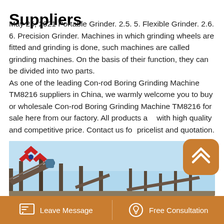Suppliers
May 25, 2021 Portable Grinder. 2.5. 5. Flexible Grinder. 2.6. 6. Precision Grinder. Machines in which grinding wheels are fitted and grinding is done, such machines are called grinding machines. On the basis of their function, they can be divided into two parts.
As one of the leading Con-rod Boring Grinding Machine TM8216 suppliers in China, we warmly welcome you to buy or wholesale Con-rod Boring Grinding Machine TM8216 for sale here from our factory. All products are with high quality and competitive price. Contact us for pricelist and quotation.
[Figure (photo): Industrial grinding/mining machinery with conveyor belts against a blue sky, with a company logo (red chevron/mountain symbol with blue dot) in the upper left corner of the image.]
Leave Message  |  Free Consultation